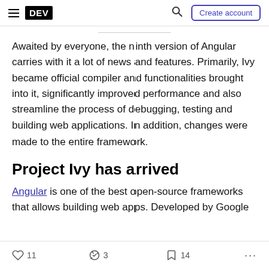DEV | Create account
Awaited by everyone, the ninth version of Angular carries with it a lot of news and features. Primarily, Ivy became official compiler and functionalities brought into it, significantly improved performance and also streamline the process of debugging, testing and building web applications. In addition, changes were made to the entire framework.
Project Ivy has arrived
Angular is one of the best open-source frameworks that allows building web apps. Developed by Google
11 likes  3 unicorns  14 bookmarks